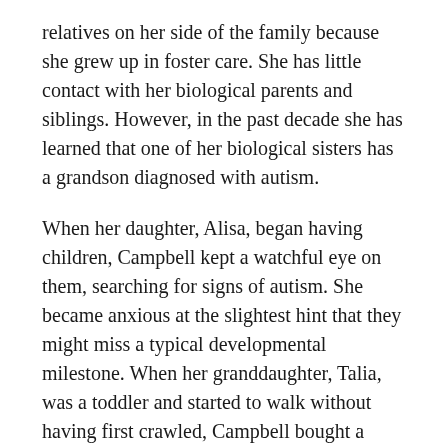relatives on her side of the family because she grew up in foster care. She has little contact with her biological parents and siblings. However, in the past decade she has learned that one of her biological sisters has a grandson diagnosed with autism.
When her daughter, Alisa, began having children, Campbell kept a watchful eye on them, searching for signs of autism. She became anxious at the slightest hint that they might miss a typical developmental milestone. When her granddaughter, Talia, was a toddler and started to walk without having first crawled, Campbell bought a battery-operated Minnie Mouse doll and